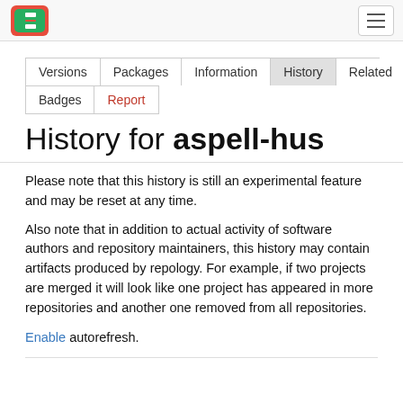Repology navigation bar with logo and hamburger menu
| Versions | Packages | Information | History | Related | Badges | Report |
| --- | --- | --- | --- | --- | --- | --- |
History for aspell-hus
Please note that this history is still an experimental feature and may be reset at any time.
Also note that in addition to actual activity of software authors and repository maintainers, this history may contain artifacts produced by repology. For example, if two projects are merged it will look like one project has appeared in more repositories and another one removed from all repositories.
Enable autorefresh.